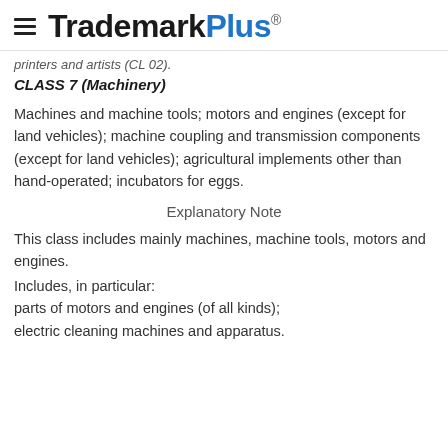TrademarkPlus
printers and artists (CL 02).
CLASS 7 (Machinery)
Machines and machine tools; motors and engines (except for land vehicles); machine coupling and transmission components (except for land vehicles); agricultural implements other than hand-operated; incubators for eggs.
Explanatory Note
This class includes mainly machines, machine tools, motors and engines.
Includes, in particular:
parts of motors and engines (of all kinds);
electric cleaning machines and apparatus.